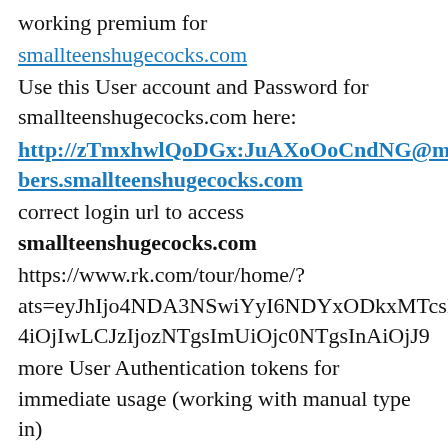working premium for
smallteenshugecocks.com
Use this User account and Password for smallteenshugecocks.com here:
http://zTmxhwlQoDGx:JuAXoOoCndNG@members.smallteenshugecocks.com
correct login url to access
smallteenshugecocks.com
https://www.rk.com/tour/home/?ats=eyJhIjo4NDA3NSwiYyI6NDYxODkxMTcsIm4iOjIwLCJzIjozNTgsImUiOjc0NTgsInAiOjJ9
more User Authentication tokens for immediate usage (working with manual type in)
Login 1 User: AAnOfBnYOLgk Password WXyzDWiXwhmk